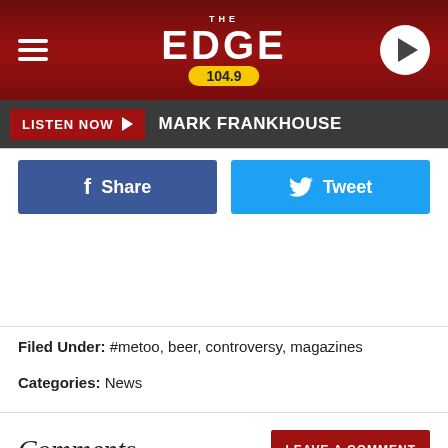THE EDGE 104.9
LISTEN NOW ▶  MARK FRANKHOUSE
[Figure (other): Facebook Share button and Twitter Tweet button]
Filed Under: #metoo, beer, controversy, magazines
Categories: News
Comments
LEAVE A COMMENT
YOU MAY LIKE    SPONSORED LINKS
[Figure (photo): Bottom partial image visible at page bottom]